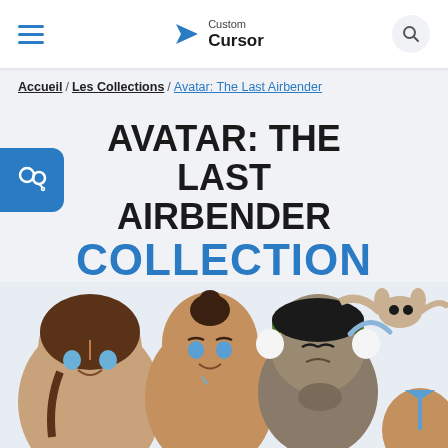Custom Cursor
Accueil / Les Collections / Avatar: The Last Airbender
AVATAR: THE LAST AIRBENDER COLLECTION
[Figure (illustration): Cartoon characters from Avatar: The Last Airbender anime series showing Katara, Sokka, Toph, Momo, and Aang's head from below]